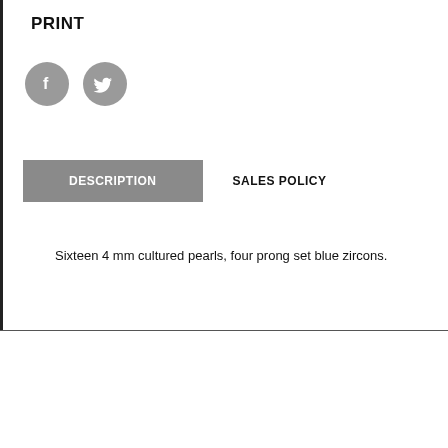PRINT
[Figure (illustration): Two circular social media icons: Facebook (f) and Twitter (bird) in gray circles]
DESCRIPTION
SALES POLICY
Sixteen 4 mm cultured pearls, four prong set blue zircons.